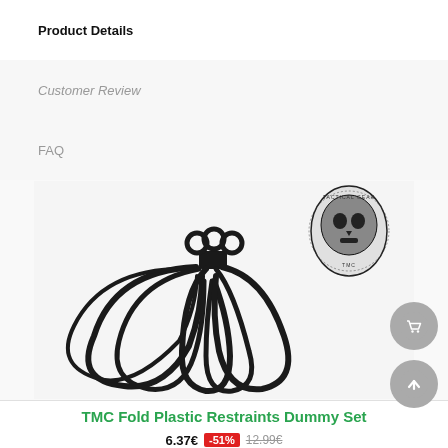Product Details
Customer Review
FAQ
[Figure (photo): Black plastic restraints / zip-tie hand cuffs dummy set by TMC, shown in a bundle with rings at top, alongside a TMC skull logo badge. Multiple loop restraints fanned out.]
TMC Fold Plastic Restraints Dummy Set
6.37€  -51%  12.99€